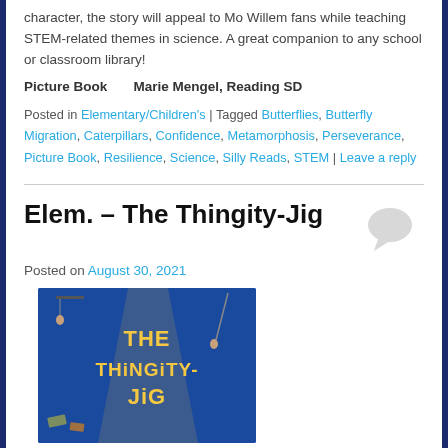character, the story will appeal to Mo Willem fans while teaching STEM-related themes in science. A great companion to any school or classroom library!
Picture Book        Marie Mengel, Reading SD
Posted in Elementary/Children's | Tagged Butterflies, Butterfly Migration, Caterpillars, Confidence, Metamorphosis, Perseverance, Picture Book, Resilience, Science, Silly Reads, STEM | Leave a reply
Elem. – The Thingity-Jig
Posted on August 30, 2021
[Figure (photo): Book cover of 'The Thingity-Jig' with blue background, yellow title text, and illustrated characters hanging from ropes.]